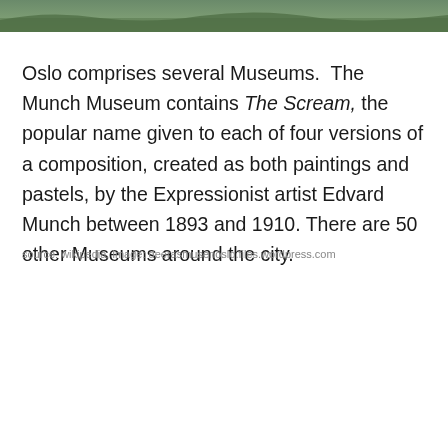[Figure (photo): Partial view of a landscape/scenic photo at the top of the page, showing a greenish outdoor scene, cropped at the bottom edge.]
Oslo comprises several Museums.  The Munch Museum contains The Scream, the popular name given to each of four versions of a composition, created as both paintings and pastels, by the Expressionist artist Edvard Munch between 1893 and 1910. There are 50 other Museums around the city.
source: wikipedia, image: deerasmusenoslo.files.wordpress.com